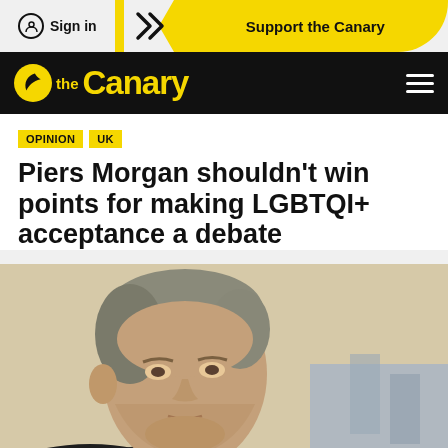Sign in | Support the Canary
the Canary
OPINION  UK
Piers Morgan shouldn't win points for making LGBTQI+ acceptance a debate
[Figure (photo): Photo of Piers Morgan, a middle-aged man with grey hair wearing a dark suit, speaking or talking, photographed in a studio setting with a blurred background.]